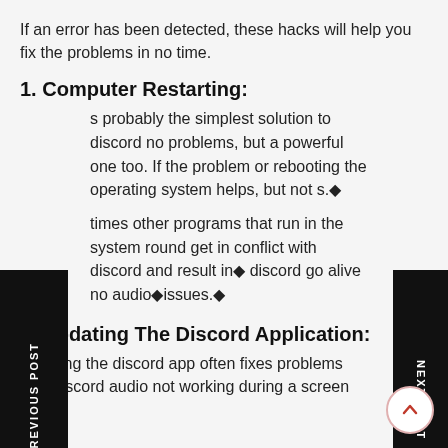If an error has been detected, these hacks will help you fix the problems in no time.
1. Computer Restarting:
s probably the simplest solution to discord no problems, but a powerful one too. If the problem or rebooting the operating system helps, but not s.◆
times other programs that run in the system round get in conflict with discord and result in◆discord go alive no audio◆issues.◆
2. Updating The Discord Application:
updating the discord app often fixes problems with discord audio not working during a screen share.